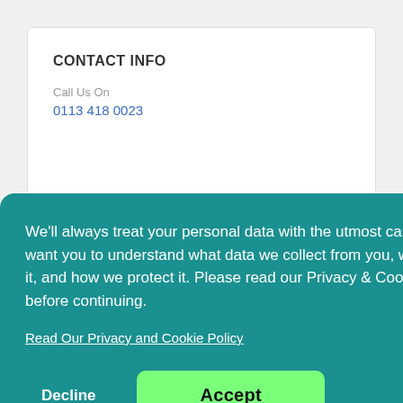CONTACT INFO
Call Us On
0113 418 0023
We'll always treat your personal data with the utmost care, and we want you to understand what data we collect from you, why we collect it, and how we protect it. Please read our Privacy & Cookie Policy before continuing.
Read Our Privacy and Cookie Policy
Decline
Accept